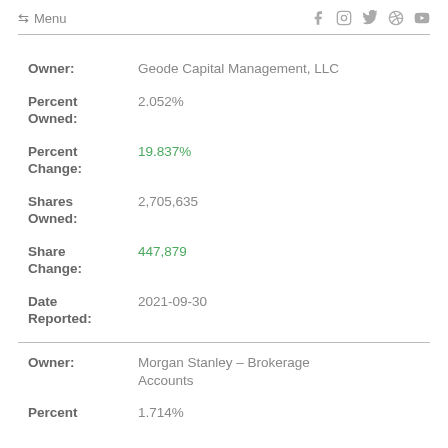← Menu  f  Instagram  Twitter  Pinterest  YouTube
Owner: Geode Capital Management, LLC
Percent Owned: 2.052%
Percent Change: 19.837%
Shares Owned: 2,705,635
Share Change: 447,879
Date Reported: 2021-09-30
Owner: Morgan Stanley - Brokerage Accounts
Percent: 1.714%